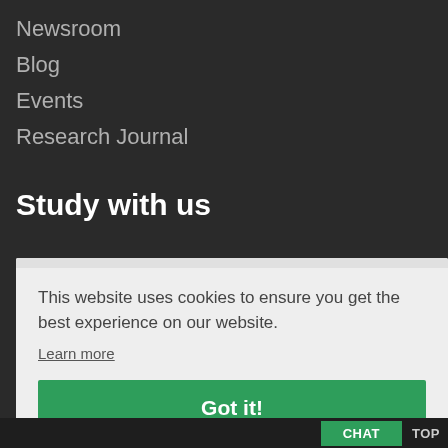Newsroom
Blog
Events
Research Journal
Study with us
Apply Online
This website uses cookies to ensure you get the best experience on our website.
Learn more
Got it!